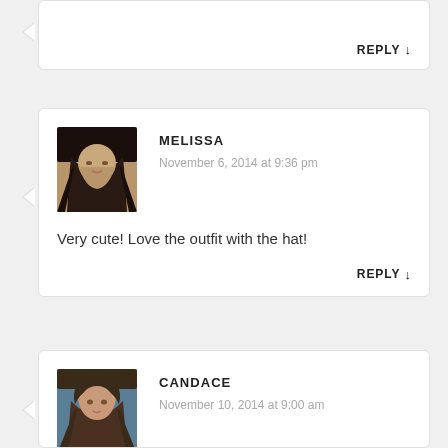[Figure (screenshot): Blog comment section showing two comment cards. First partial card at top showing only REPLY link. Second card from commenter 'Melissa' with avatar photo, dated November 6, 2014 at 9:36 pm, with comment text 'Very cute! Love the outfit with the hat!' and a REPLY link. Third partial card from commenter 'Candace' with avatar photo, dated November 10, 2014 at 9:00 am.]